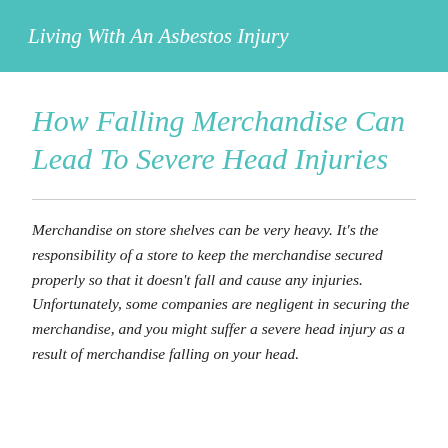Living With An Asbestos Injury
How Falling Merchandise Can Lead To Severe Head Injuries
Merchandise on store shelves can be very heavy. It's the responsibility of a store to keep the merchandise secured properly so that it doesn't fall and cause any injuries. Unfortunately, some companies are negligent in securing the merchandise, and you might suffer a severe head injury as a result of merchandise falling on your head.